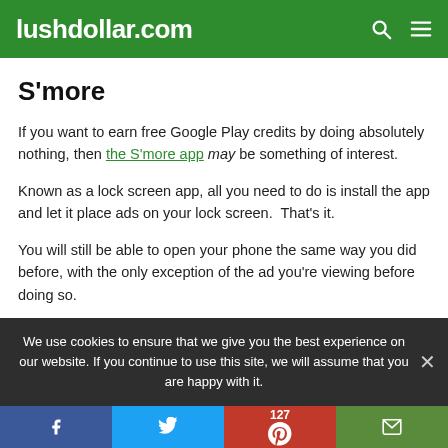lushdollar.com
S'more
If you want to earn free Google Play credits by doing absolutely nothing, then the S'more app may be something of interest.
Known as a lock screen app, all you need to do is install the app and let it place ads on your lock screen.  That's it.
You will still be able to open your phone the same way you did before, with the only exception of the ad you're viewing before doing so.
We use cookies to ensure that we give you the best experience on our website. If you continue to use this site, we will assume that you are happy with it.
f  [twitter]  127 [pinterest]  [email]